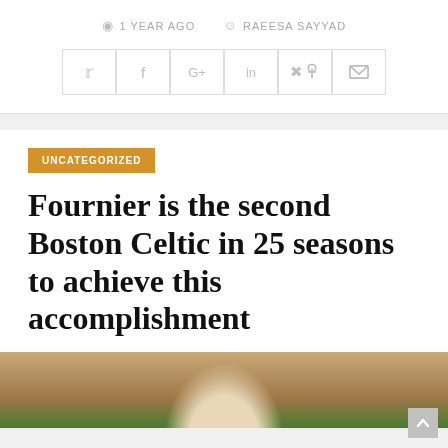1 YEAR AGO   RAEESA SAYYAD
[Figure (infographic): Social sharing buttons row: Twitter, Facebook, Google+, LinkedIn, Pinterest, Email icons in bordered square buttons]
UNCATEGORIZED
Fournier is the second Boston Celtic in 25 seasons to achieve this accomplishment
[Figure (photo): Bottom portion of a basketball court photo showing a player on the parquet floor, green Celtics court markings visible]